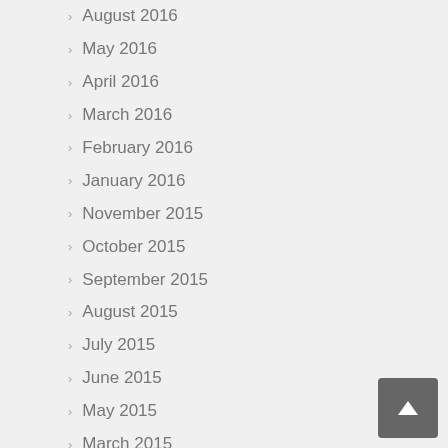August 2016
May 2016
April 2016
March 2016
February 2016
January 2016
November 2015
October 2015
September 2015
August 2015
July 2015
June 2015
May 2015
March 2015
February 2015
December 2014
September 2014
June 2014
April 2014